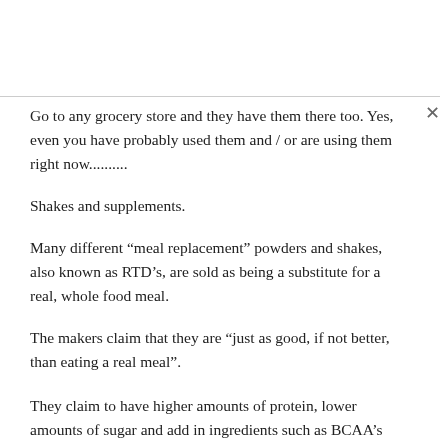Go to any grocery store and they have them there too. Yes, even you have probably used them and / or are using them right now..........
Shakes and supplements.
Many different “meal replacement” powders and shakes, also known as RTD’s, are sold as being a substitute for a real, whole food meal.
The makers claim that they are “just as good, if not better, than eating a real meal”.
They claim to have higher amounts of protein, lower amounts of sugar and add in ingredients such as BCAA’s